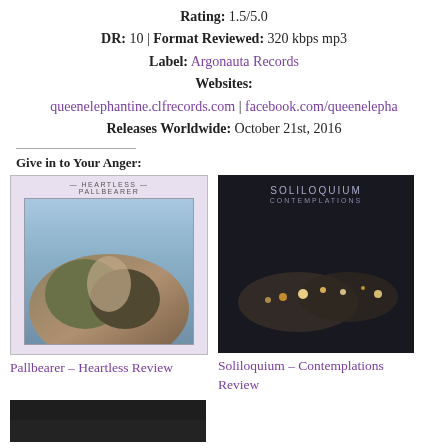Rating: 1.5/5.0
DR: 10 | Format Reviewed: 320 kbps mp3
Label: Argonauta Records
Websites:
queenelephantine.clfrecords.com | facebook.com/queenelepha
Releases Worldwide: October 21st, 2016
Give in to Your Anger:
[Figure (photo): Pallbearer - Heartless album cover art showing a figure on rocks with painterly style, light purple border background]
Pallbearer – Heartless Review
[Figure (photo): Soliloquium - Contemplations album cover art showing a dark cityscape at night with lights]
Soliloquium – Contemplations Review
[Figure (photo): Third album cover partially visible at bottom of page, dark image]